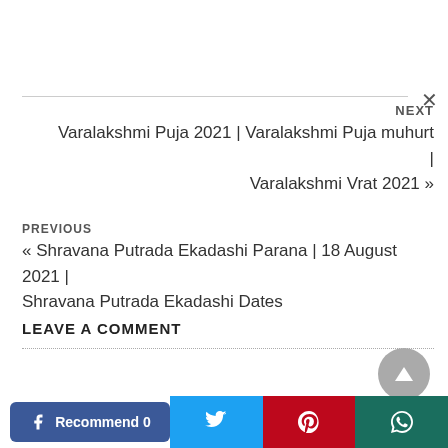NEXT
Varalakshmi Puja 2021 | Varalakshmi Puja muhurt | Varalakshmi Vrat 2021 »
PREVIOUS
« Shravana Putrada Ekadashi Parana | 18 August 2021 | Shravana Putrada Ekadashi Dates
LEAVE A COMMENT